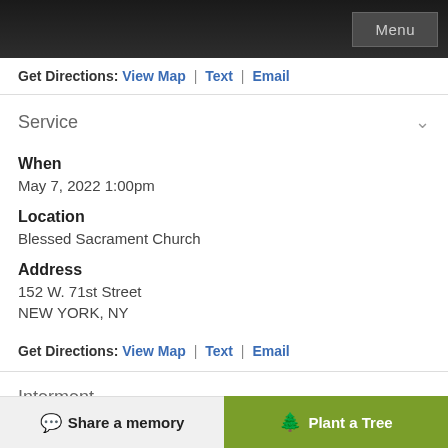Menu
Get Directions: View Map | Text | Email
Service
When
May 7, 2022 1:00pm
Location
Blessed Sacrament Church
Address
152 W. 71st Street
NEW YORK, NY
Get Directions: View Map | Text | Email
Interment
💬 Share a memory
🌳 Plant a Tree